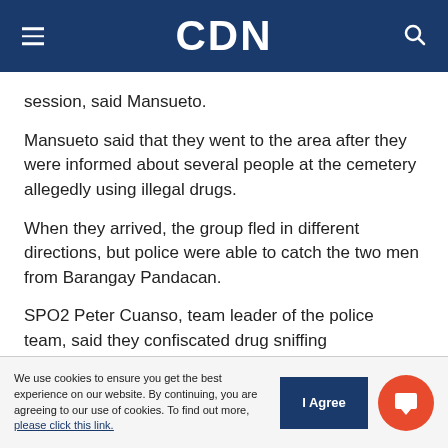CDN
session, said Mansueto.
Mansueto said that they went to the area after they were informed about several people at the cemetery allegedly using illegal drugs.
When they arrived, the group fled in different directions, but police were able to catch the two men from Barangay Pandacan.
SPO2 Peter Cuanso, team leader of the police team, said they confiscated drug sniffing
We use cookies to ensure you get the best experience on our website. By continuing, you are agreeing to our use of cookies. To find out more, please click this link.